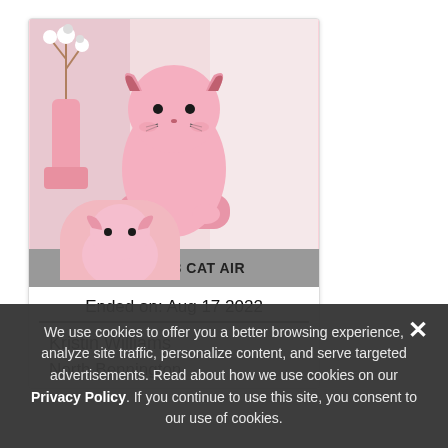[Figure (photo): Pink cat-shaped humidifier with a cute face, alongside a pink vase with cotton flowers, on a light background]
WIN 1 OF 3 CAT AIR
Ended on: Aug 17 2022
Kristin Williams
North Bennington,
We use cookies to offer you a better browsing experience, analyze site traffic, personalize content, and serve targeted advertisements. Read about how we use cookies on our Privacy Policy. If you continue to use this site, you consent to our use of cookies.